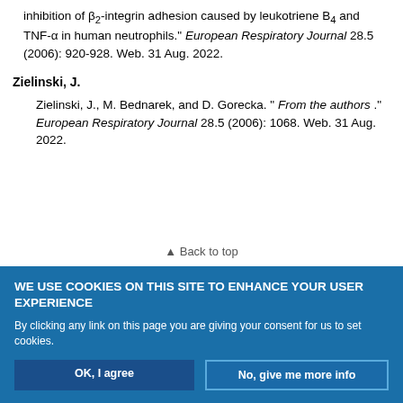inhibition of β₂-integrin adhesion caused by leukotriene B₄ and TNF-α in human neutrophils." European Respiratory Journal 28.5 (2006): 920-928. Web. 31 Aug. 2022.
Zielinski, J.
Zielinski, J., M. Bednarek, and D. Gorecka. " From the authors ." European Respiratory Journal 28.5 (2006): 1068. Web. 31 Aug. 2022.
▲ Back to top
WE USE COOKIES ON THIS SITE TO ENHANCE YOUR USER EXPERIENCE
By clicking any link on this page you are giving your consent for us to set cookies.